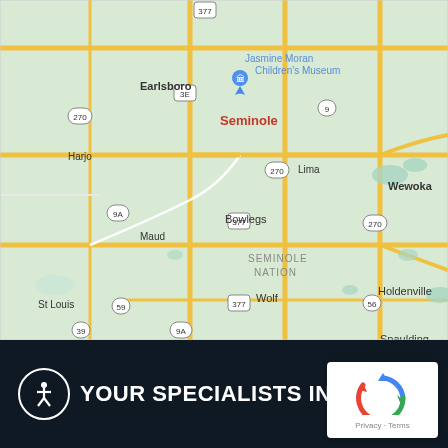[Figure (map): Google Maps view showing Seminole Nation area in Oklahoma, including towns: Earlsboro, Harjo, Seminole, Lima, Wewoka, Bowlegs, Maud, Wolf, St Louis, Holdenville, Spaulding. Route numbers visible: 377, 270, 9, 3E, 9A, 59, 56, 39. Shows Jasmine Moran Children's Museum label.]
YOUR SPECIALISTS IN